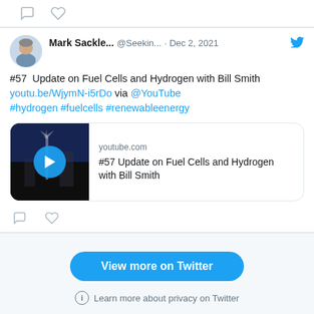[Figure (screenshot): Twitter/X partial top strip with comment and like icons]
Mark Sackle... @Seekin... · Dec 2, 2021
#57  Update on Fuel Cells and Hydrogen with Bill Smith youtu.be/WjymN-i5rDo via @YouTube #hydrogen #fuelcells #renewableenergy
[Figure (screenshot): YouTube video link preview thumbnail with play button and title: #57 Update on Fuel Cells and Hydrogen with Bill Smith, source: youtube.com]
View more on Twitter
Learn more about privacy on Twitter